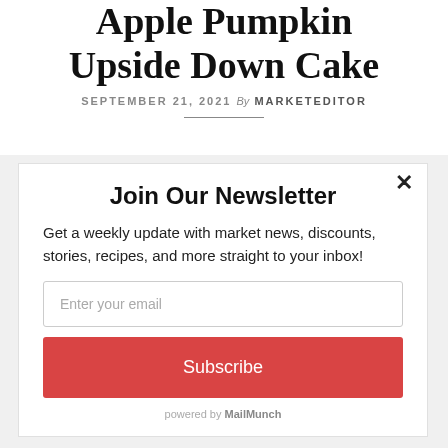Apple Pumpkin Upside Down Cake
SEPTEMBER 21, 2021 By MARKETEDITOR
Join Our Newsletter
Get a weekly update with market news, discounts, stories, recipes, and more straight to your inbox!
Enter your email
Subscribe
powered by MailMunch